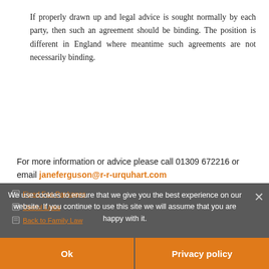If properly drawn up and legal advice is sought normally by each party, then such an agreement should be binding. The position is different in England where meantime such agreements are not necessarily binding.
For more information or advice please call 01309 672216 or email janeferguson@r-r-urquhart.com
Search ...
Our Team
Fixed Fee Packages
Useful Links
Back to Family Law
We use cookies to ensure that we give you the best experience on our website. If you continue to use this site we will assume that you are happy with it.
Ok
Privacy policy